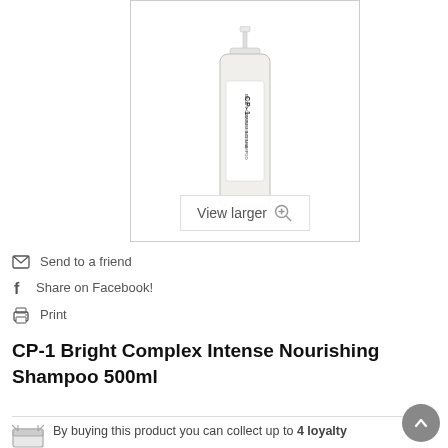[Figure (photo): CP-1 Bright Complex Intense Nourishing Shampoo 500ml bottle with pump dispenser, white bottle with black text label, shown against white background inside a bordered product image box with a 'View larger' magnifier button overlay at the bottom]
Send to a friend
Share on Facebook!
Print
CP-1 Bright Complex Intense Nourishing Shampoo 500ml
By buying this product you can collect up to 4 loyalty